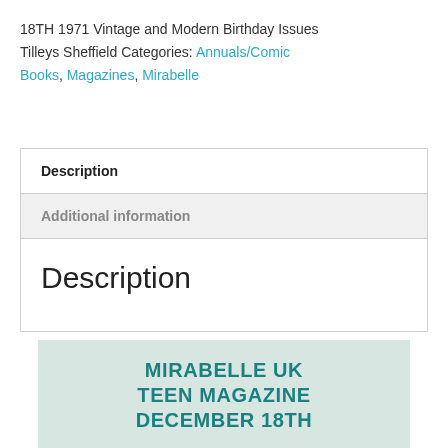18TH 1971 Vintage and Modern Birthday Issues Tilleys Sheffield Categories: Annuals/Comic Books, Magazines, Mirabelle
Description
Additional information
Description
[Figure (other): Product cover image box with teal text reading: MIRABELLE UK TEEN MAGAZINE DECEMBER 18TH on a light mint/grey background]